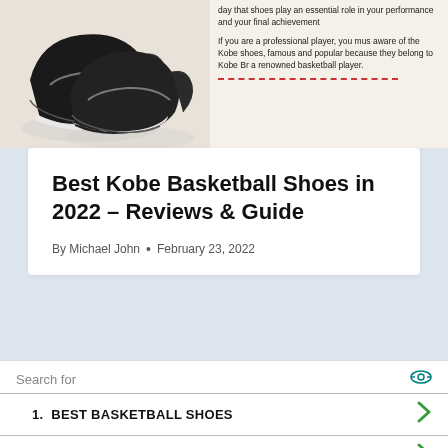[Figure (photo): Black basketball shoes (Kobe-style) on a light beige background]
day that shoes play an essential role in your performance and your final achievement

If you are a professional player, you must be aware of the Kobe shoes, famous and popular because they belong to Kobe Bryant, a renowned basketball player.
Best Kobe Basketball Shoes in 2022 – Reviews & Guide
By Michael John • February 23, 2022
Search for
1.  BEST BASKETBALL SHOES
2.  STABILITY RUNNING SHOES
Ad | Business Focus